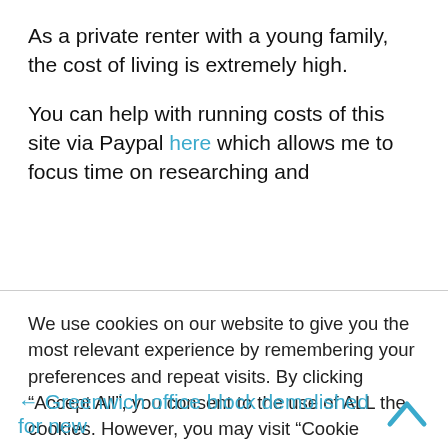As a private renter with a young family, the cost of living is extremely high.
You can help with running costs of this site via Paypal here which allows me to focus time on researching and
We use cookies on our website to give you the most relevant experience by remembering your preferences and repeat visits. By clicking “Accept All”, you consent to the use of ALL the cookies. However, you may visit “Cookie Settings” to provide a controlled consent.
Thank you
← Greenwich office block demolished for new